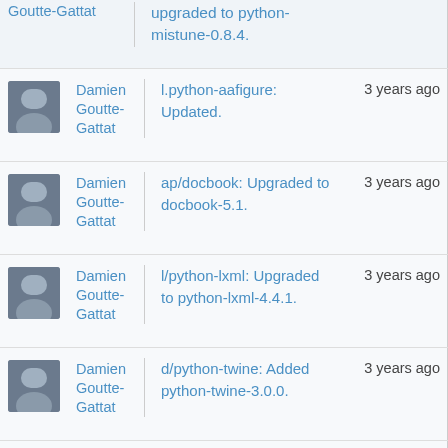Damien Goutte-Gattat | upgraded to python-mistune-0.8.4. | 3 years ago
Damien Goutte-Gattat | l.python-aafigure: Updated. | 3 years ago
Damien Goutte-Gattat | ap/docbook: Upgraded to docbook-5.1. | 3 years ago
Damien Goutte-Gattat | l/python-lxml: Upgraded to python-lxml-4.4.1. | 3 years ago
Damien Goutte-Gattat | d/python-twine: Added python-twine-3.0.0. | 3 years ago
Damien Goutte-Gattat | l/python-keyring: Added python-keyring-19.2.0. | 3 years ago
Damien Goutte-Gattat | l/python-entrypoints: Updated. | 3 years ago